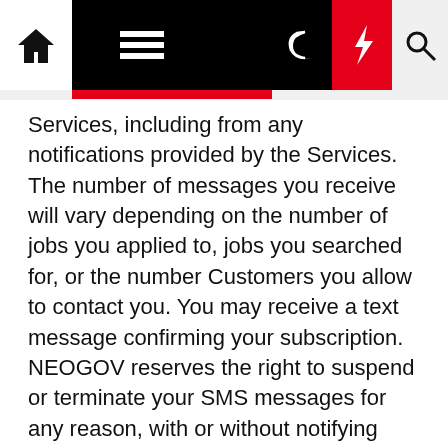[Navigation bar with home, menu, dark mode, lightning, search icons]
Services, including from any notifications provided by the Services. The number of messages you receive will vary depending on the number of jobs you applied to, jobs you searched for, or the number Customers you allow to contact you. You may receive a text message confirming your subscription. NEOGOV reserves the right to suspend or terminate your SMS messages for any reason, with or without notifying you.
Since these text message services depend on the functionality of third-party providers, there may be technical delays on the part of those providers. NEOGOV may make commercially reasonable efforts to provide alerts in a timely manner with accurate information, but cannot guarantee the delivery, timeliness, or accuracy of the content of